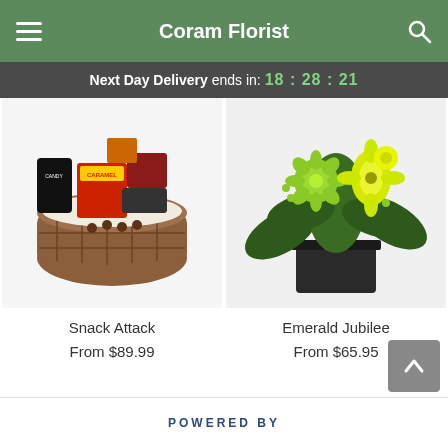Coram Florist
Next Day Delivery ends in: 18:28:21
[Figure (photo): Snack Attack gift basket filled with caramel popcorn, candy, and assorted snacks in a woven basket]
Snack Attack
From $89.99
[Figure (photo): Emerald Jubilee floral arrangement with green chrysanthemums and yellow lilies in a dark square vase]
Emerald Jubilee
From $65.95
POWERED BY